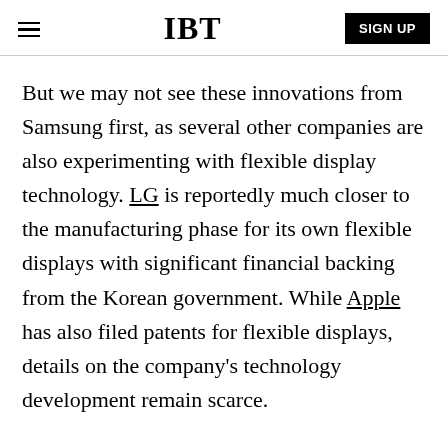IBT | SIGN UP
But we may not see these innovations from Samsung first, as several other companies are also experimenting with flexible display technology. LG is reportedly much closer to the manufacturing phase for its own flexible displays with significant financial backing from the Korean government. While Apple has also filed patents for flexible displays, details on the company’s technology development remain scarce.